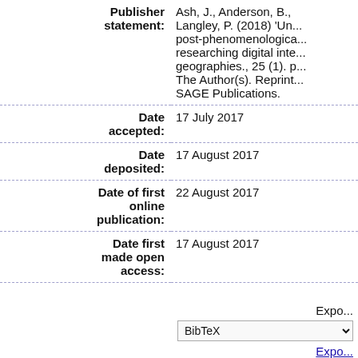| Field | Value |
| --- | --- |
| Publisher statement: | Ash, J., Anderson, B., Langley, P. (2018) 'Un... post-phenomenologica... researching digital inte... geographies., 25 (1). p... The Author(s). Reprint... SAGE Publications. |
| Date accepted: | 17 July 2017 |
| Date deposited: | 17 August 2017 |
| Date of first online publication: | 22 August 2017 |
| Date first made open access: | 17 August 2017 |
Export
BibTeX
Export